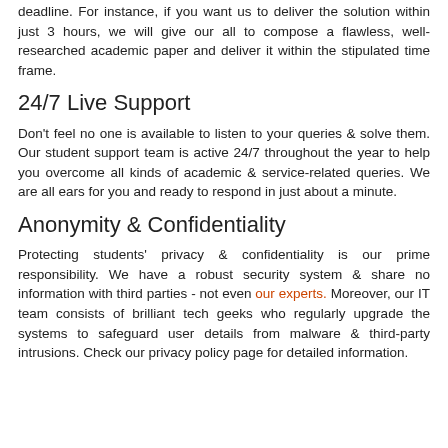deadline. For instance, if you want us to deliver the solution within just 3 hours, we will give our all to compose a flawless, well-researched academic paper and deliver it within the stipulated time frame.
24/7 Live Support
Don't feel no one is available to listen to your queries & solve them. Our student support team is active 24/7 throughout the year to help you overcome all kinds of academic & service-related queries. We are all ears for you and ready to respond in just about a minute.
Anonymity & Confidentiality
Protecting students' privacy & confidentiality is our prime responsibility. We have a robust security system & share no information with third parties - not even our experts. Moreover, our IT team consists of brilliant tech geeks who regularly upgrade the systems to safeguard user details from malware & third-party intrusions. Check our privacy policy page for detailed information.